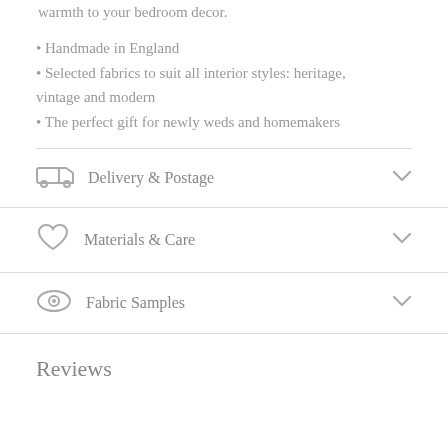warmth to your bedroom decor.
• Handmade in England
• Selected fabrics to suit all interior styles: heritage, vintage and modern
• The perfect gift for newly weds and homemakers
Delivery & Postage
Materials & Care
Fabric Samples
Reviews